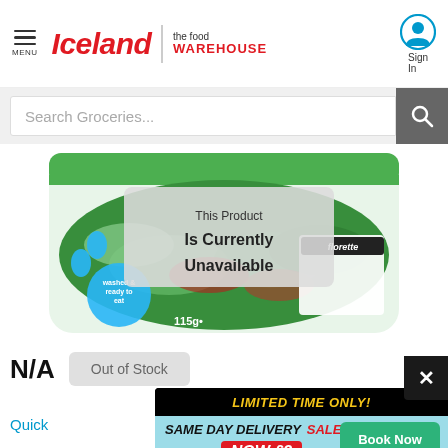[Figure (screenshot): Iceland supermarket website header with logo, navigation menu icon, and sign-in button]
[Figure (screenshot): Search bar with placeholder text 'Search Groceries...' and search button]
[Figure (photo): Bag of salad leaves product (115g) with 'This Product Is Currently Unavailable' overlay text. Florette brand salad.]
N/A
Out of Stock
[Figure (screenshot): Advertisement banner: LIMITED TIME ONLY! SAME DAY DELIVERY SALE WAS £6 NOW £3 Book Now *SUBJECT TO AVAILABILITY]
Quick